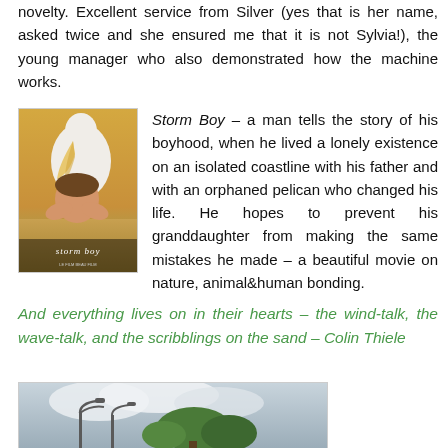novelty. Excellent service from Silver (yes that is her name, asked twice and she ensured me that it is not Sylvia!), the young manager who also demonstrated how the machine works.
[Figure (photo): Movie poster for Storm Boy showing a pelican and a boy embracing, with golden field background and text 'storm boy']
Storm Boy – a man tells the story of his boyhood, when he lived a lonely existence on an isolated coastline with his father and with an orphaned pelican who changed his life. He hopes to prevent his granddaughter from making the same mistakes he made – a beautiful movie on nature, animal&human bonding.
And everything lives on in their hearts – the wind-talk, the wave-talk, and the scribblings on the sand – Colin Thiele
[Figure (photo): Outdoor photo showing trees and a street lamp against a cloudy sky]